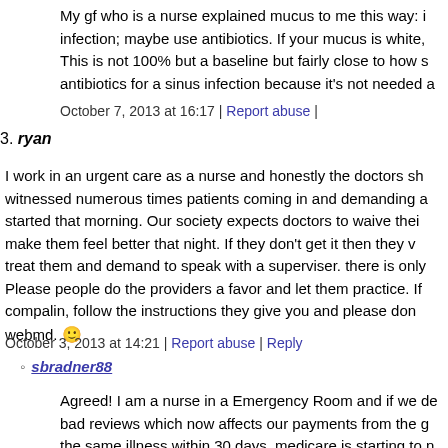My gf who is a nurse explained mucus to me this way: infection; maybe use antibiotics. If your mucus is white, This is not 100% but a baseline but fairly close to how s antibiotics for a sinus infection because it's not needed a
October 7, 2013 at 16:17 | Report abuse |
3. ryan
I work in an urgent care as a nurse and honestly the doctors sh witnessed numerous times patients coming in and demanding a started that morning. Our society expects doctors to waive thei make them feel better that night. If they don't get it then they v treat them and demand to speak with a superviser. there is only Please people do the providers a favor and let them practice. If compalin, follow the instructions they give you and please don webmd. 🙂
October 3, 2013 at 14:21 | Report abuse | Reply
sbradner88
Agreed! I am a nurse in a Emergency Room and if we de bad reviews which now affects our payments from the g the same illness within 30 days, medicare is starting to n fix the problem the first time.